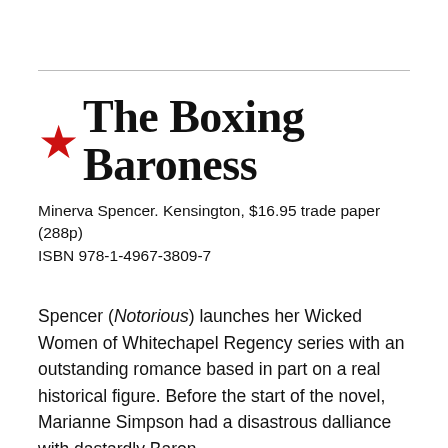★ The Boxing Baroness
Minerva Spencer. Kensington, $16.95 trade paper (288p) ISBN 978-1-4967-3809-7
Spencer (Notorious) launches her Wicked Women of Whitechapel Regency series with an outstanding romance based in part on a real historical figure. Before the start of the novel, Marianne Simpson had a disastrous dalliance with dastardly Baron Domi[REDACTED]g to Maria[REDACTED]ble to